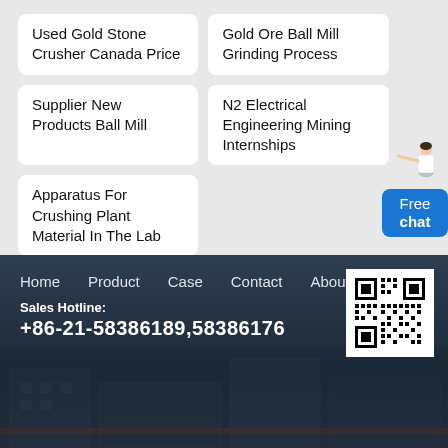Used Gold Stone Crusher Canada Price
Gold Ore Ball Mill Grinding Process
Supplier New Products Ball Mill
N2 Electrical Engineering Mining Internships
Apparatus For Crushing Plant Material In The Lab
[Figure (illustration): Woman figure with Free chat bubble button]
Home  Product  Case  Contact  About
Sales Hotline:
+86-21-58386189,58386176
Copyright © 2022 Shibang Industry & Technology Group Co., Ltd.  Online Chat | Contact Us | sitemap